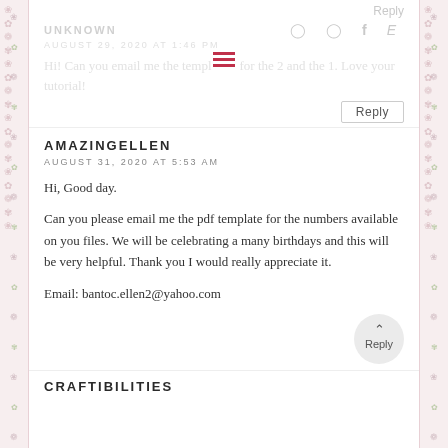Reply
UNKNOWN
AUGUST 29, 2020 AT 1:46 PM
Hi! Can you email me the template for the 2 and the 1. Love your tutorial!
Reply
AMAZINGELLEN
AUGUST 31, 2020 AT 5:53 AM
Hi, Good day.
Can you please email me the pdf template for the numbers available on you files. We will be celebrating a many birthdays and this will be very helpful. Thank you I would really appreciate it.
Email: bantoc.ellen2@yahoo.com
Reply
CRAFTIBILITIES